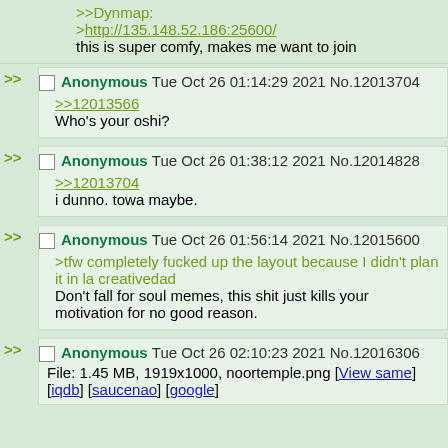>>Dynmap:
>http://135.148.52.186:25600/
this is super comfy, makes me want to join
Anonymous Tue Oct 26 01:14:29 2021 No.12013704
>>12013566
Who's your oshi?
Anonymous Tue Oct 26 01:38:12 2021 No.12014828
>>12013704
i dunno. towa maybe.
Anonymous Tue Oct 26 01:56:14 2021 No.12015600
>tfw completely fucked up the layout because I didn't plan it in la creativedad
Don't fall for soul memes, this shit just kills your motivation for no good reason.
Anonymous Tue Oct 26 02:10:23 2021 No.12016306
File: 1.45 MB, 1919x1000, noortemple.png [View same] [iqdb] [saucenao] [google]